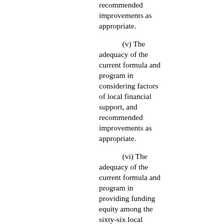recommended improvements as appropriate. (v) The adequacy of the current formula and program in considering factors of local financial support, and recommended improvements as appropriate. (vi) The adequacy of the current formula and program in providing funding equity among the sixty-six local public school systems, and recommended improvements as appropriate.